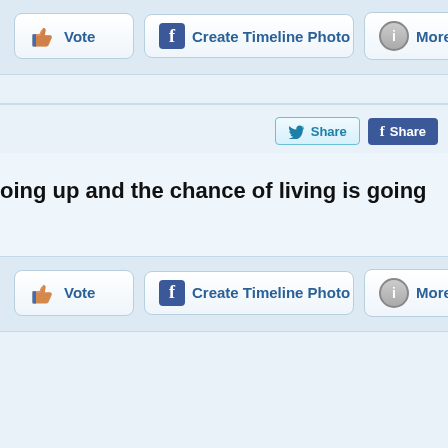[Figure (screenshot): Top action bar with Vote, Create Timeline Photo, and More info buttons]
[Figure (screenshot): Twitter Share and Facebook Share buttons row]
oing up and the chance of living is going
[Figure (screenshot): Bottom action bar with Vote, Create Timeline Photo, and More info buttons]